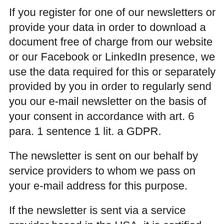If you register for one of our newsletters or provide your data in order to download a document free of charge from our website or our Facebook or LinkedIn presence, we use the data required for this or separately provided by you in order to regularly send you our e-mail newsletter on the basis of your consent in accordance with art. 6 para. 1 sentence 1 lit. a GDPR.
The newsletter is sent on our behalf by service providers to whom we pass on your e-mail address for this purpose.
If the newsletter is sent via a service provider based in the USA, it is certified under the EU-US Privacy Shield. As a result of this